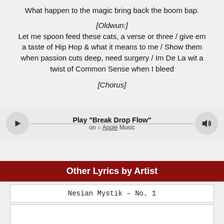What happen to the magic bring back the boom bap.
[Oldwun:]
Let me spoon feed these cats, a verse or three / give em a taste of Hip Hop & what it means to me / Show them when passion cuts deep, need surgery / Im De La wit a twist of Common Sense when I bleed
[Chorus]
[Figure (other): Music player bar with play button, 'Play "Break Drop Flow"' title, Apple Music label, and volume/speaker button]
Other Lyrics by Artist
Nesian Mystik – No. 1